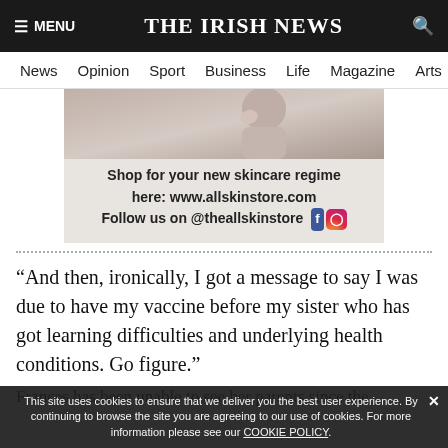THE IRISH NEWS
News | Opinion | Sport | Business | Life | Magazine | Arts
[Figure (photo): Advertisement banner for allskinstore.com showing a person touching their face and skincare text]
“And then, ironically, I got a message to say I was due to have my vaccine before my sister who has got learning difficulties and underlying health conditions. Go figure.”
Frances has been unable to see her parents since the
This site uses cookies to ensure that we deliver you the best user experience. By continuing to browse the site you are agreeing to our use of cookies. For more information please see our COOKIE POLICY.